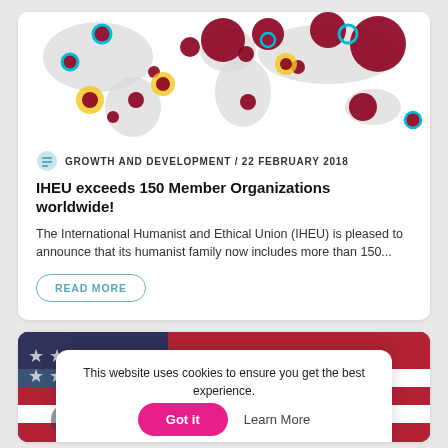[Figure (map): World bubble map showing IHEU member organizations globally, with dark red, cyan, and yellow circles of varying sizes plotted on a grey world map.]
GROWTH AND DEVELOPMENT / 22 FEBRUARY 2018
IHEU exceeds 150 Member Organizations worldwide!
The International Humanist and Ethical Union (IHEU) is pleased to announce that its humanist family now includes more than 150...
READ MORE
[Figure (photo): Partial view of people in front of a red, white, and blue flag, partially obscured by cookie consent overlay.]
This website uses cookies to ensure you get the best experience.
Got it
Learn More